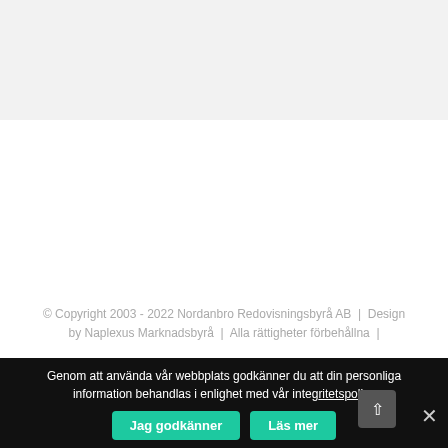© Copyright 2003 - 2022 Nordanbro Redovisningsbyrå AB  |  Design by Naplexus Marknadsbyrå  |  Alla rättigheter förbehållna  |
Genom att använda vår webbplats godkänner du att din personliga information behandlas i enlighet med vår integritetspolicy